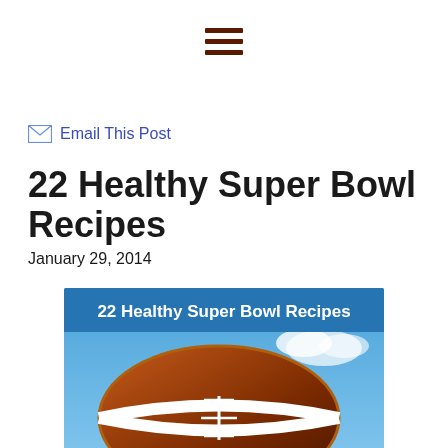≡ (hamburger menu icon)
Email This Post
22 Healthy Super Bowl Recipes
January 29, 2014
[Figure (illustration): Image showing a football on a blue sky background with text '22 Healthy Super Bowl Recipes' at the top]